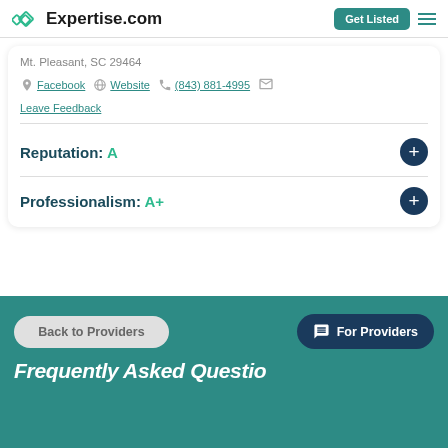Expertise.com
Mt. Pleasant, SC 29464
Facebook | Website | (843) 881-4995 | Leave Feedback
Reputation: A
Professionalism: A+
Back to Providers
For Providers
Frequently Asked Questions